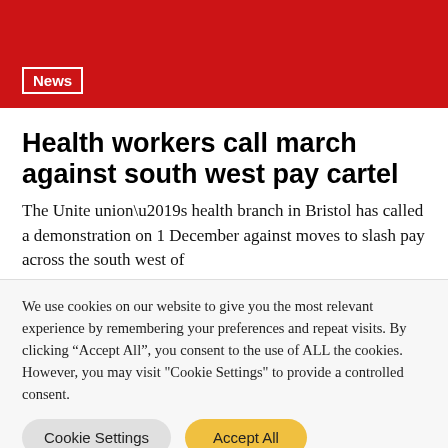News
Health workers call march against south west pay cartel
The Unite union’s health branch in Bristol has called a demonstration on 1 December against moves to slash pay across the south west of
We use cookies on our website to give you the most relevant experience by remembering your preferences and repeat visits. By clicking “Accept All”, you consent to the use of ALL the cookies. However, you may visit "Cookie Settings" to provide a controlled consent.
Cookie Settings | Accept All